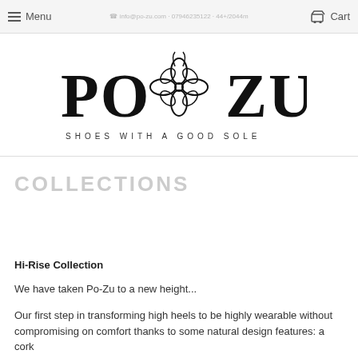Menu  [nav contact info]  Cart
[Figure (logo): Po-Zu logo with butterfly/flower emblem in the center between PO and ZU text, with tagline SHOES WITH A GOOD SOLE below]
COLLECTIONS
Hi-Rise Collection
We have taken Po-Zu to a new height...
Our first step in transforming high heels to be highly wearable without compromising on comfort thanks to some natural design features: a cork...